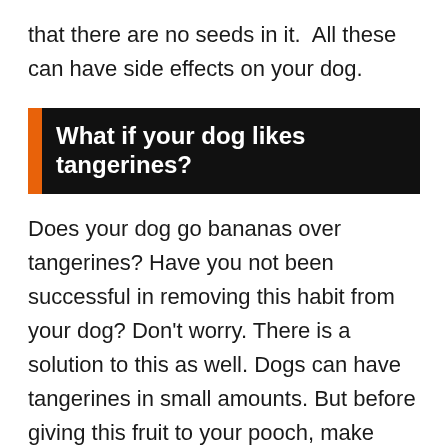that there are no seeds in it.  All these can have side effects on your dog.
What if your dog likes tangerines?
Does your dog go bananas over tangerines? Have you not been successful in removing this habit from your dog? Don't worry. There is a solution to this as well. Dogs can have tangerines in small amounts. But before giving this fruit to your pooch, make sure that you remove the peels and seeds from the fruit. When given in large amounts to dogs,